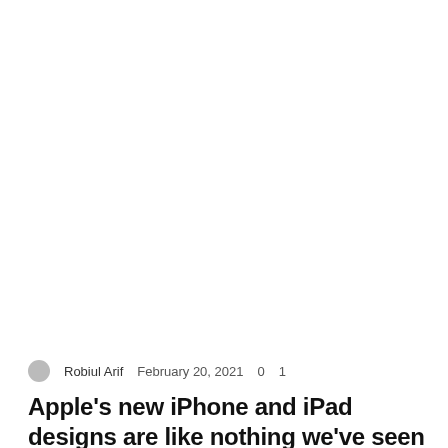Technology
Robiul Arif   February 20, 2021   0   1
Apple's new iPhone and iPad designs are like nothing we've seen before…